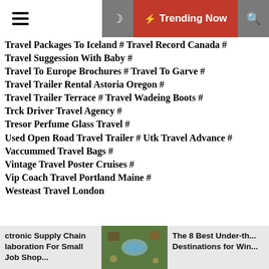Trending Now
Travel Packages To Iceland # Travel Record Canada #
Travel Suggession With Baby #
Travel To Europe Brochures # Travel To Garve #
Travel Trailer Rental Astoria Oregon #
Travel Trailer Terrace # Travel Wadeing Boots #
Trck Driver Travel Agency #
Tresor Perfume Glass Travel #
Used Open Road Travel Trailer # Utk Travel Advance #
Vaccummed Travel Bags #
Vintage Travel Poster Cruises #
Vip Coach Travel Portland Maine #
Westeast Travel London
Victoria
ctronic Supply Chain laboration For Small Job Shop...
The 8 Best Under-th... Destinations for Win...